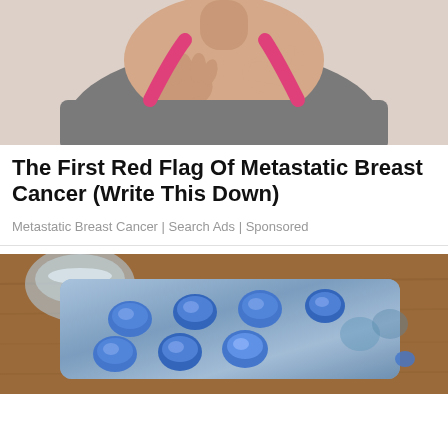[Figure (photo): Woman in athletic wear (gray tank top with pink sports bra straps) holding/clutching her chest with both hands, suggesting chest pain or breast discomfort, against a white background.]
The First Red Flag Of Metastatic Breast Cancer (Write This Down)
Metastatic Breast Cancer | Search Ads | Sponsored
[Figure (photo): Close-up photo of blue pills in a blister/foil pack on a wooden surface, with a glass of water blurred in the background.]